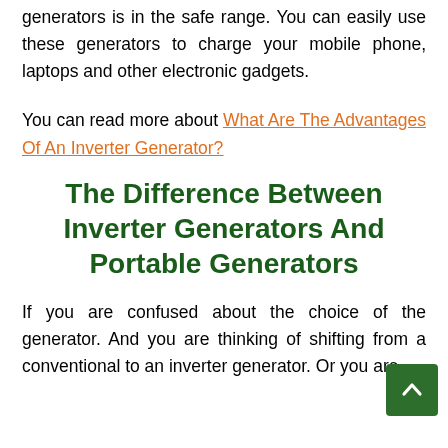generators is in the safe range. You can easily use these generators to charge your mobile phone, laptops and other electronic gadgets.
You can read more about What Are The Advantages Of An Inverter Generator?
The Difference Between Inverter Generators And Portable Generators
If you are confused about the choice of the generator. And you are thinking of shifting from a conventional to an inverter generator. Or you are